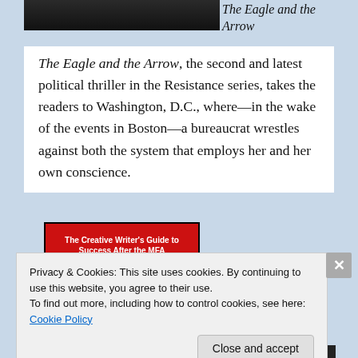[Figure (photo): Dark book cover image, cropped at top, showing partial view]
The Eagle and the Arrow
The Eagle and the Arrow, the second and latest political thriller in the Resistance series, takes the readers to Washington, D.C., where—in the wake of the events in Boston—a bureaucrat wrestles against both the system that employs her and her own conscience.
[Figure (photo): Red book cover: 'The Creative Writer's Guide to Success After the MFA — Now What?']
Privacy & Cookies: This site uses cookies. By continuing to use this website, you agree to their use.
To find out more, including how to control cookies, see here: Cookie Policy
Close and accept